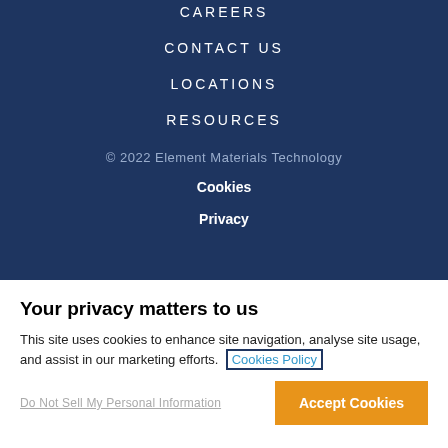CAREERS
CONTACT US
LOCATIONS
RESOURCES
© 2022 Element Materials Technology
Cookies
Privacy
Your privacy matters to us
This site uses cookies to enhance site navigation, analyse site usage, and assist in our marketing efforts. Cookies Policy
Do Not Sell My Personal Information
Accept Cookies